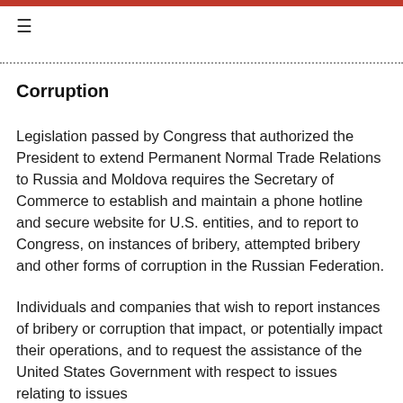≡
Corruption
Legislation passed by Congress that authorized the President to extend Permanent Normal Trade Relations to Russia and Moldova requires the Secretary of Commerce to establish and maintain a phone hotline and secure website for U.S. entities, and to report to Congress, on instances of bribery, attempted bribery and other forms of corruption in the Russian Federation.
Individuals and companies that wish to report instances of bribery or corruption that impact, or potentially impact their operations, and to request the assistance of the United States Government with respect to issues relating to issues